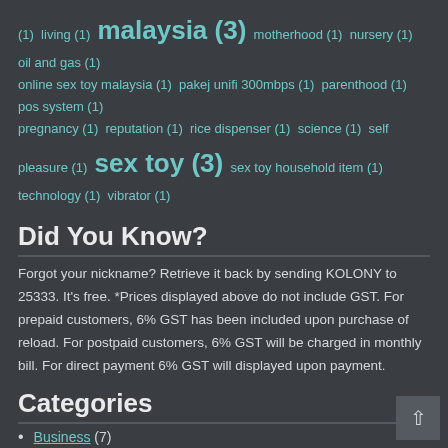(1) living (1) malaysia (3) motherhood (1) nursery (1) oil and gas (1) online sex toy malaysia (1) pakej unifi 300mbps (1) parenthood (1) pos system (1) pregnancy (1) reputation (1) rice dispenser (1) science (1) self pleasure (1) sex toy (3) sex toy household item (1) technology (1) vibrator (1)
Did You Know?
Forgot your nickname? Retrieve it back by sending KOLONY to 25333. It's free. *Prices displayed above do not include GST. For prepaid customers, 6% GST has been included upon purchase of reload. For postpaid customers, 6% GST will be charged in monthly bill. For direct payment 6% GST will displayed upon payment.
Categories
Business (7)
Celcom (1)
Default (64)
Education (4)
Entertainment (1)